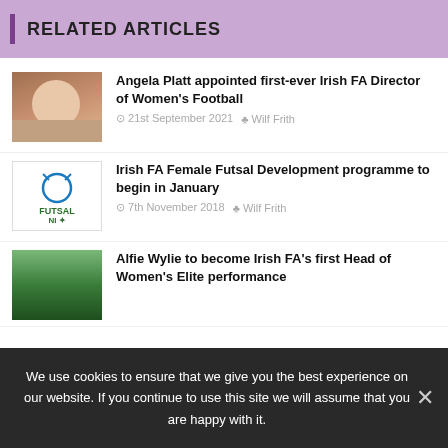RELATED ARTICLES
Angela Platt appointed first-ever Irish FA Director of Women's Football | 21st September 2021 | Wilf Frith
Irish FA Female Futsal Development programme to begin in January | 7th November 2018 | Wilf Frith
Alfie Wylie to become Irish FA's first Head of Women's Elite performance
We use cookies to ensure that we give you the best experience on our website. If you continue to use this site we will assume that you are happy with it.